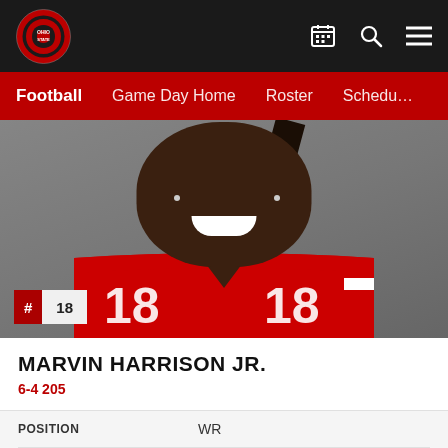Ohio State Athletics — Football navigation bar with logo, calendar, search, and menu icons
Football | Game Day Home | Roster | Schedule
[Figure (photo): Headshot of Marvin Harrison Jr. in Ohio State #18 red jersey, smiling against grey background. Jersey number badge #18 overlaid on bottom left.]
MARVIN HARRISON JR.
6-4 205
| POSITION | YEAR |
| --- | --- |
| WR | 2nd Year |